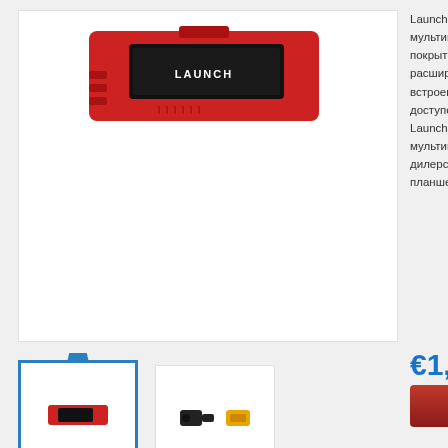[Figure (photo): Main product image of Launch X431 PRO diagnostic device in red color, shown from top view against white background]
[Figure (photo): Thumbnail 1 (selected, blue border): small red Launch X431 PRO device]
[Figure (photo): Thumbnail 2: black and yellow diagnostic connectors/adapters]
Launch X431 PRO мультимарочного покрытия 79 прогр расширяется с са встроенного беспр доступен 161 вар Launch X431 PRO мультимарочного дилерским. Конст планшета на базе
€1,121
Купить